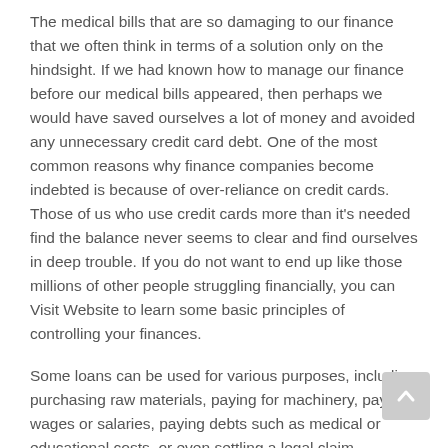The medical bills that are so damaging to our finance that we often think in terms of a solution only on the hindsight. If we had known how to manage our finance before our medical bills appeared, then perhaps we would have saved ourselves a lot of money and avoided any unnecessary credit card debt. One of the most common reasons why finance companies become indebted is because of over-reliance on credit cards. Those of us who use credit cards more than it's needed find the balance never seems to clear and find ourselves in deep trouble. If you do not want to end up like those millions of other people struggling financially, you can Visit Website to learn some basic principles of controlling your finances.
Some loans can be used for various purposes, including purchasing raw materials, paying for machinery, paying wages or salaries, paying debts such as medical or educational costs, or even settling a legal claim. However, the most common way in which these loans